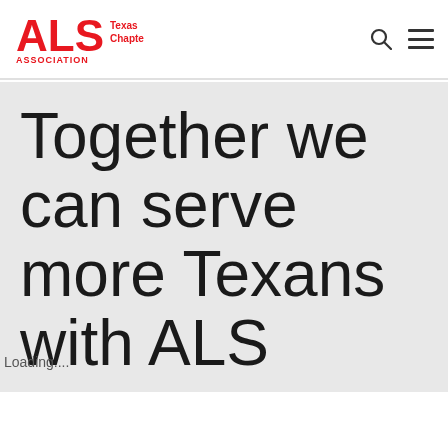[Figure (logo): ALS Association Texas Chapter logo in red]
Together we can serve more Texans with ALS
Loading....